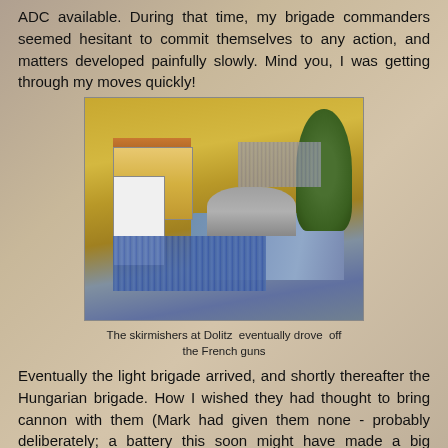ADC available. During that time, my brigade commanders seemed hesitant to commit themselves to any action, and matters developed painfully slowly. Mind you, I was getting through my moves quickly!
[Figure (photo): A wargame diorama showing miniature soldiers, a stone bridge over a river, a half-timbered building, and troops in formation on a sandy/yellow terrain board.]
The skirmishers at Dolitz  eventually drove  off the French guns
Eventually the light brigade arrived, and shortly thereafter the Hungarian brigade.  How I wished they had thought to bring cannon with them (Mark had given them none - probably deliberately; a battery this soon might have made a big difference in battering down the Markkleeburg garrison).